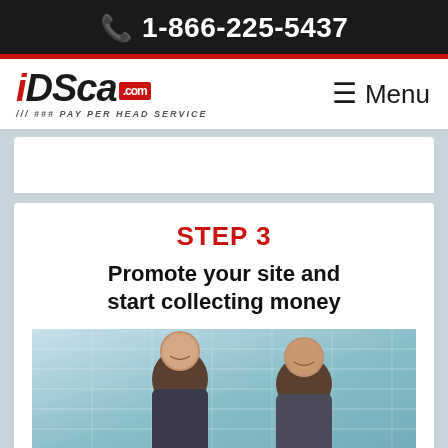1-866-225-5437
[Figure (logo): iDSca.com Pay Per Head Service logo with menu button]
STEP 3
Promote your site and start collecting money
[Figure (photo): Two men smiling, photographed from below against a glass building background]